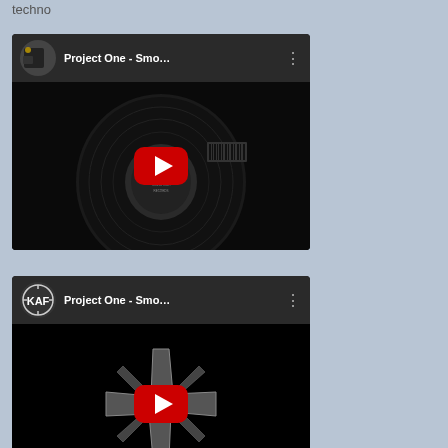techno
[Figure (screenshot): YouTube video thumbnail for 'Project One - Smo...' showing a vinyl record with Rising High Records label, with YouTube play button overlay. Channel avatar shows a room/studio.]
[Figure (screenshot): YouTube video thumbnail for 'Project One - Smo...' showing a dark background with a metallic star/asterisk logo, with YouTube play button overlay. Channel avatar shows KAF logo.]